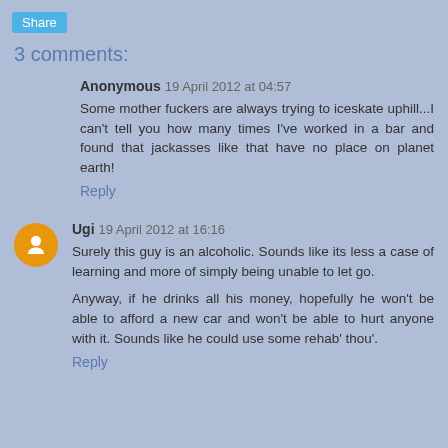[Figure (screenshot): Share button in blue]
3 comments:
Anonymous 19 April 2012 at 04:57
Some mother fuckers are always trying to iceskate uphill...I can't tell you how many times I've worked in a bar and found that jackasses like that have no place on planet earth!
Reply
Ugi 19 April 2012 at 16:16
Surely this guy is an alcoholic. Sounds like its less a case of learning and more of simply being unable to let go.
Anyway, if he drinks all his money, hopefully he won't be able to afford a new car and won't be able to hurt anyone with it. Sounds like he could use some rehab' thou'.
Reply